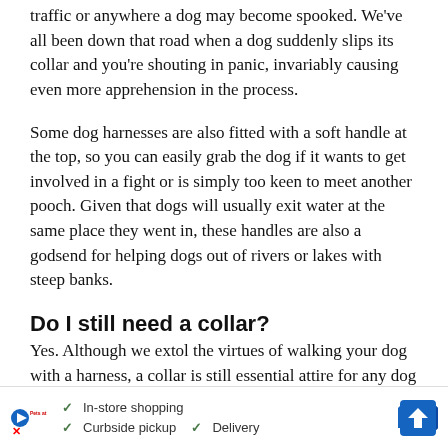traffic or anywhere a dog may become spooked. We've all been down that road when a dog suddenly slips its collar and you're shouting in panic, invariably causing even more apprehension in the process.
Some dog harnesses are also fitted with a soft handle at the top, so you can easily grab the dog if it wants to get involved in a fight or is simply too keen to meet another pooch. Given that dogs will usually exit water at the same place they went in, these handles are also a godsend for helping dogs out of rivers or lakes with steep banks.
Do I still need a collar?
Yes. Although we extol the virtues of walking your dog with a harness, a collar is still essential attire for any dog (even when wearing a harness). Aside from being a legal requirement in the UK, a collar also tells others that the dog has an owner and isn't a stray. A collar also allows you to att…compl…he